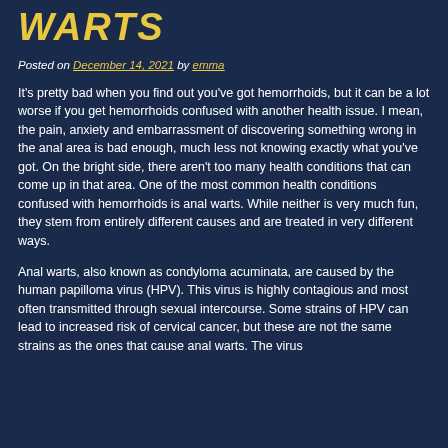WARTS
Posted on December 14, 2021 by emma
It's pretty bad when you find out you've got hemorrhoids, but it can be a lot worse if you get hemorrhoids confused with another health issue. I mean, the pain, anxiety and embarrassment of discovering something wrong in the anal area is bad enough, much less not knowing exactly what you've got. On the bright side, there aren't too many health conditions that can come up in that area. One of the most common health conditions confused with hemorrhoids is anal warts. While neither is very much fun, they stem from entirely different causes and are treated in very different ways.
Anal warts, also known as condyloma acuminata, are caused by the human papilloma virus (HPV). This virus is highly contagious and most often transmitted through sexual intercourse. Some strains of HPV can lead to increased risk of cervical cancer, but these are not the same strains as the ones that cause anal warts. The virus